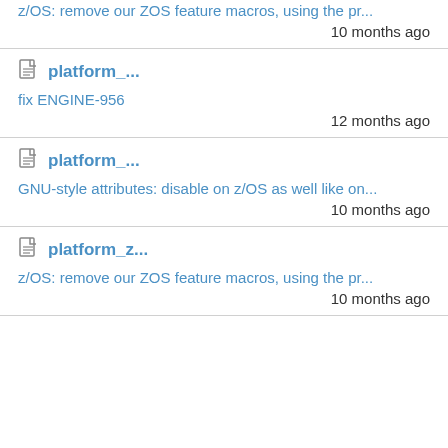z/OS: remove our ZOS feature macros, using the pr...
10 months ago
platform_...
fix ENGINE-956
12 months ago
platform_...
GNU-style attributes: disable on z/OS as well like on...
10 months ago
platform_z...
z/OS: remove our ZOS feature macros, using the pr...
10 months ago